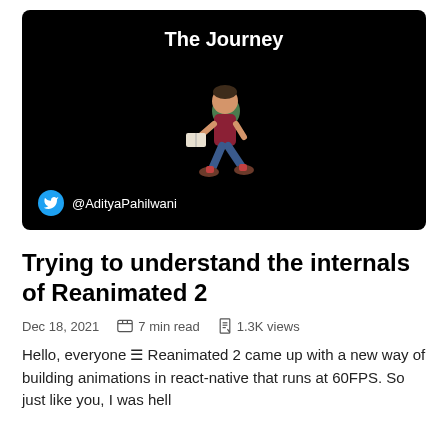[Figure (illustration): Dark banner image with white bold title 'The Journey' at top, a walking person illustration in center holding a book/tablet with backpack, and Twitter handle @AdityaPahilwani at bottom left with Twitter bird icon.]
Trying to understand the internals of Reanimated 2
Dec 18, 2021   7 min read   1.3K views
Hello, everyone 🟰 Reanimated 2 came up with a new way of building animations in react-native that runs at 60FPS. So just like you, I was hell